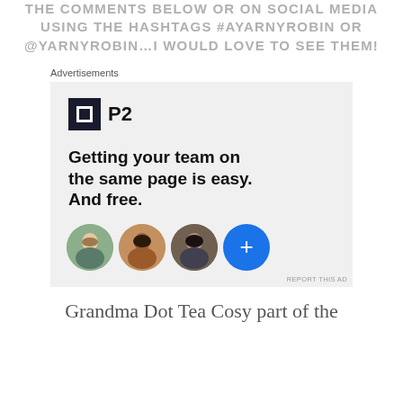THE COMMENTS BELOW OR ON SOCIAL MEDIA USING THE HASHTAGS #AYARNYROBIN OR @YARNYROBIN…I WOULD LOVE TO SEE THEM!
[Figure (screenshot): Advertisement for P2 app: logo with 'P2', headline 'Getting your team on the same page is easy. And free.' with three circular avatar photos and a blue plus button. 'REPORT THIS AD' text at bottom right.]
Grandma Dot Tea Cosy part of the